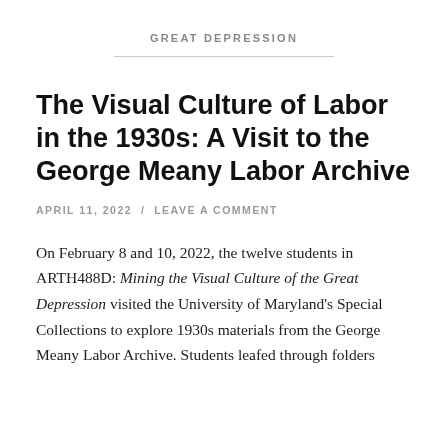GREAT DEPRESSION
The Visual Culture of Labor in the 1930s: A Visit to the George Meany Labor Archive
APRIL 11, 2022  /  LEAVE A COMMENT
On February 8 and 10, 2022, the twelve students in ARTH488D: Mining the Visual Culture of the Great Depression visited the University of Maryland's Special Collections to explore 1930s materials from the George Meany Labor Archive. Students leafed through folders